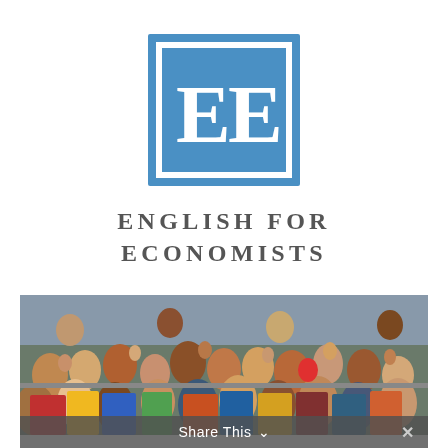[Figure (logo): EE logo: blue square with white border containing two white letter E's side by side, on white background]
ENGLISH FOR ECONOMISTS
[Figure (photo): A large crowd of people, many waving their hands and smiling at the camera, appears to be a public gathering or event with people of various ages]
Share This ∨ ×